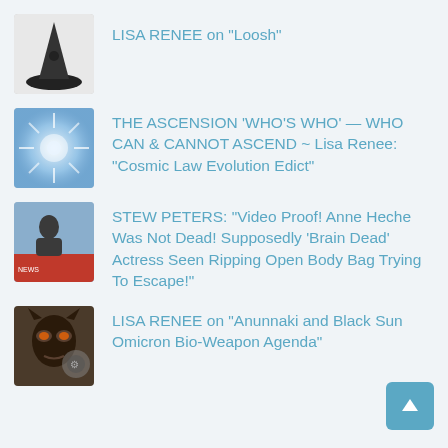LISA RENEE on “Loosh”
THE ASCENSION 'WHO'S WHO' — WHO CAN & CANNOT ASCEND ~ Lisa Renee: "Cosmic Law Evolution Edict"
STEW PETERS: “Video Proof! Anne Heche Was Not Dead! Supposedly ‘Brain Dead’ Actress Seen Ripping Open Body Bag Trying To Escape!”
LISA RENEE on “Anunnaki and Black Sun Omicron Bio-Weapon Agenda”